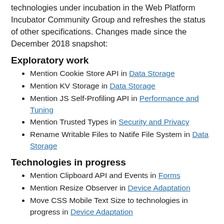technologies under incubation in the Web Platform Incubator Community Group and refreshes the status of other specifications. Changes made since the December 2018 snapshot:
Exploratory work
Mention Cookie Store API in Data Storage
Mention KV Storage in Data Storage
Mention JS Self-Profiling API in Performance and Tuning
Mention Trusted Types in Security and Privacy
Rename Writable Files to Natife File System in Data Storage
Technologies in progress
Mention Clipboard API and Events in Forms
Mention Resize Observer in Device Adaptation
Move CSS Mobile Text Size to technologies in progress in Device Adaptation